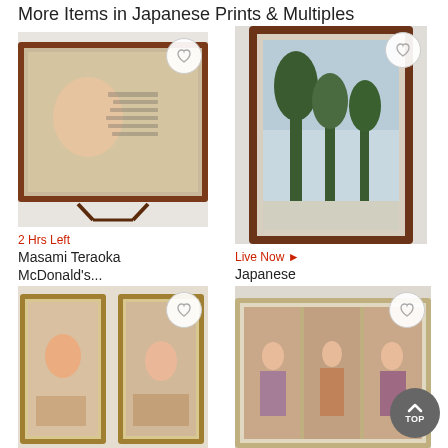More Items in Japanese Prints & Multiples
[Figure (photo): Framed Japanese woodblock print by Masami Teraoka, McDonald's themed, displayed on a stand]
2 Hrs Left
Masami Teraoka McDonald's...
$150
[Figure (photo): Framed Japanese woodblock print showing a landscape with pine trees]
Live Now ▶
Japanese Woodblock Print
$100
[Figure (photo): Two framed Japanese woodblock prints with figures, displayed side by side in gold frames]
[Figure (photo): Framed Japanese triptych woodblock print with multiple figures in a scene]